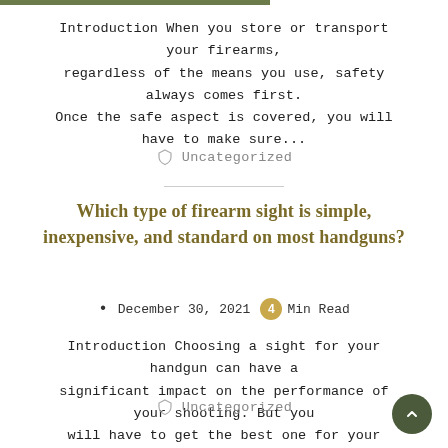Introduction When you store or transport your firearms, regardless of the means you use, safety always comes first. Once the safe aspect is covered, you will have to make sure...
Uncategorized
Which type of firearm sight is simple, inexpensive, and standard on most handguns?
December 30, 2021  4 Min Read
Introduction Choosing a sight for your handgun can have a significant impact on the performance of your shooting. But you will have to get the best one for your needs...
Uncategorized